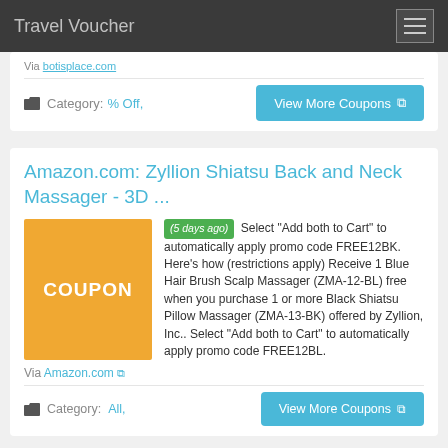Travel Voucher
Via botisplace.com
Category: % Off,
View More Coupons
Amazon.com: Zyllion Shiatsu Back and Neck Massager - 3D ...
[Figure (other): Orange coupon box with text COUPON]
(5 days ago) Select "Add both to Cart" to automatically apply promo code FREE12BK. Here's how (restrictions apply) Receive 1 Blue Hair Brush Scalp Massager (ZMA-12-BL) free when you purchase 1 or more Black Shiatsu Pillow Massager (ZMA-13-BK) offered by Zyllion, Inc.. Select "Add both to Cart" to automatically apply promo code FREE12BL.
Via Amazon.com
Category: All,
View More Coupons